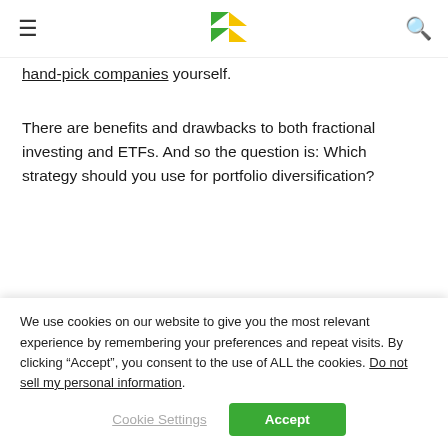[Navigation header with hamburger menu, logo, and search icon]
hand-pick companies yourself.
There are benefits and drawbacks to both fractional investing and ETFs. And so the question is: Which strategy should you use for portfolio diversification?
The pros and cons of fractional shares
We use cookies on our website to give you the most relevant experience by remembering your preferences and repeat visits. By clicking “Accept”, you consent to the use of ALL the cookies. Do not sell my personal information.
Cookie Settings  Accept